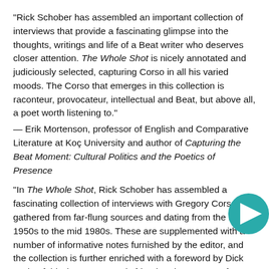"Rick Schober has assembled an important collection of interviews that provide a fascinating glimpse into the thoughts, writings and life of a Beat writer who deserves closer attention. The Whole Shot is nicely annotated and judiciously selected, capturing Corso in all his varied moods. The Corso that emerges in this collection is raconteur, provocateur, intellectual and Beat, but above all, a poet worth listening to."
— Erik Mortenson, professor of English and Comparative Literature at Koç University and author of Capturing the Beat Moment: Cultural Politics and the Poetics of Presence
"In The Whole Shot, Rick Schober has assembled a fascinating collection of interviews with Gregory Corso, gathered from far-flung sources and dating from the mid 1950s to the mid 1980s. These are supplemented with a number of informative notes furnished by the editor, and the collection is further enriched with a foreword by Dick Brukenfeld who was an early friend and supporter of
[Figure (other): Teal/green right-pointing triangle navigation button in bottom-right corner]